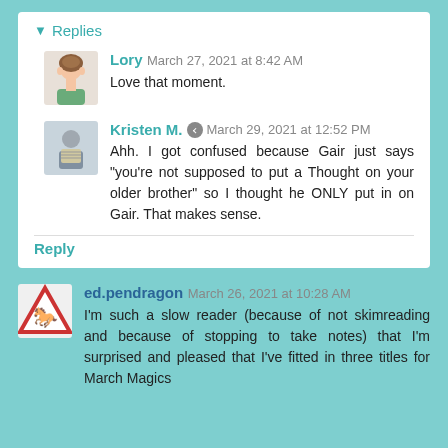Replies
Lory  March 27, 2021 at 8:42 AM
Love that moment.
Kristen M.  March 29, 2021 at 12:52 PM
Ahh. I got confused because Gair just says "you're not supposed to put a Thought on your older brother" so I thought he ONLY put in on Gair. That makes sense.
Reply
ed.pendragon  March 26, 2021 at 10:28 AM
I'm such a slow reader (because of not skimreading and because of stopping to take notes) that I'm surprised and pleased that I've fitted in three titles for March Magics